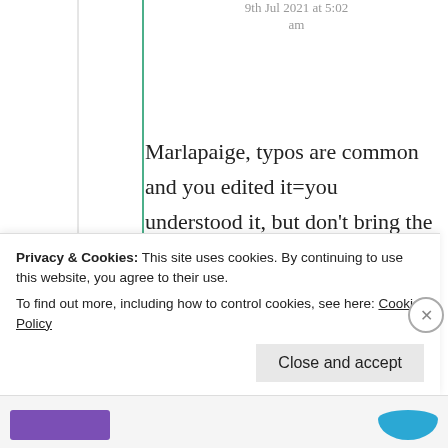9th Jul 2021 at 5:02 am
Marlapaige, typos are common and you edited it=you understood it, but don't bring the weakest game to the strongest man=we both know what you are and not!
Liked by 1 person
Privacy & Cookies: This site uses cookies. By continuing to use this website, you agree to their use.
To find out more, including how to control cookies, see here: Cookie Policy
Close and accept